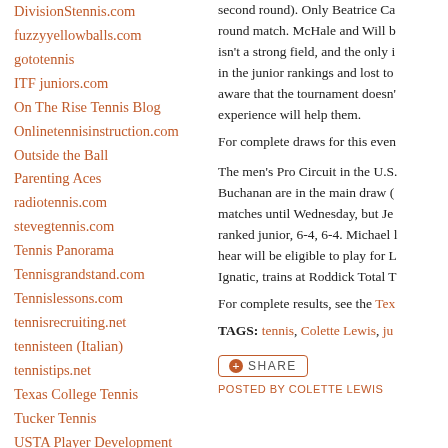DivisionStennis.com
fuzzyyellowballs.com
gototennis
ITF juniors.com
On The Rise Tennis Blog
Onlinetennisinstruction.com
Outside the Ball
Parenting Aces
radiotennis.com
stevegtennis.com
Tennis Panorama
Tennisgrandstand.com
Tennislessons.com
tennisrecruiting.net
tennisteen (Italian)
tennistips.net
Texas College Tennis
Tucker Tennis
USTA Player Development
second round). Only Beatrice Ca... round match. McHale and Will b... isn't a strong field, and the only i... in the junior rankings and lost to... aware that the tournament doesn'... experience will help them.
For complete draws for this even...
The men's Pro Circuit in the U.S... Buchanan are in the main draw (... matches until Wednesday, but Je... ranked junior, 6-4, 6-4. Michael l... hear will be eligible to play for L... Ignatic, trains at Roddick Total T...
For complete results, see the Tex...
TAGS: tennis, Colette Lewis, ju...
SHARE
POSTED BY COLETTE LEWIS